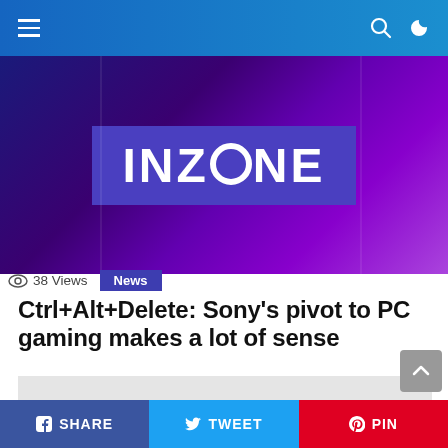Navigation bar with hamburger menu, search icon, and dark mode toggle
[Figure (screenshot): Sony InZone gaming brand hero image with purple/blue gradient background and INZONE logo in white text on purple banner]
38 Views  News
Ctrl+Alt+Delete: Sony’s pivot to PC gaming makes a lot of sense
[Figure (other): Light gray advertisement or content placeholder block]
SHARE  TWEET  PIN